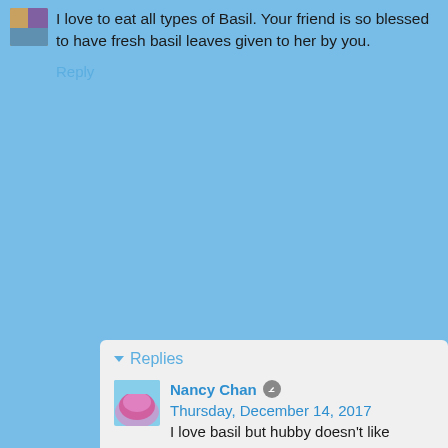[Figure (photo): Small avatar image of a user, partially visible]
I love to eat all types of Basil. Your friend is so blessed to have fresh basil leaves given to her by you.
Reply
Replies
[Figure (photo): Avatar of Nancy Chan showing pink flowers]
Nancy Chan  Thursday, December 14, 2017
I love basil but hubby doesn't like